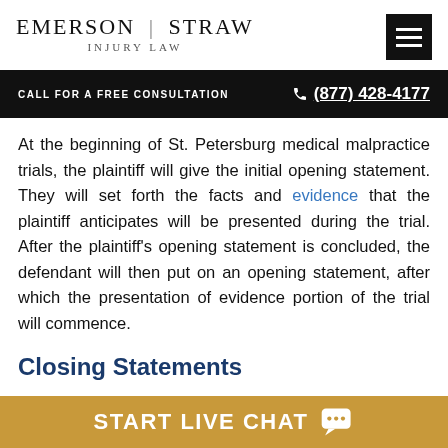Emerson | Straw Injury Law
CALL FOR A FREE CONSULTATION   ☎ (877) 428-4177
At the beginning of St. Petersburg medical malpractice trials, the plaintiff will give the initial opening statement. They will set forth the facts and evidence that the plaintiff anticipates will be presented during the trial. After the plaintiff's opening statement is concluded, the defendant will then put on an opening statement, after which the presentation of evidence portion of the trial will commence.
Closing Statements
In Florida trials, both parties will present a closing
START LIVE CHAT